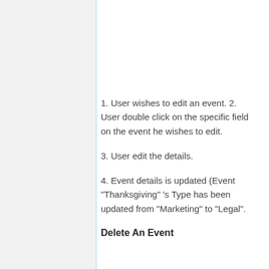1. User wishes to edit an event. 2. User double click on the specific field on the event he wishes to edit.
3. User edit the details.
4. Event details is updated (Event "Thanksgiving" 's Type has been updated from "Marketing" to "Legal".
Delete An Event